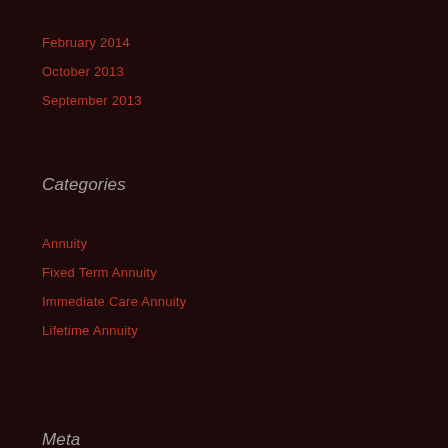February 2014
October 2013
September 2013
Categories
Annuity
Fixed Term Annuity
Immediate Care Annuity
Lifetime Annuity
Meta
Log in